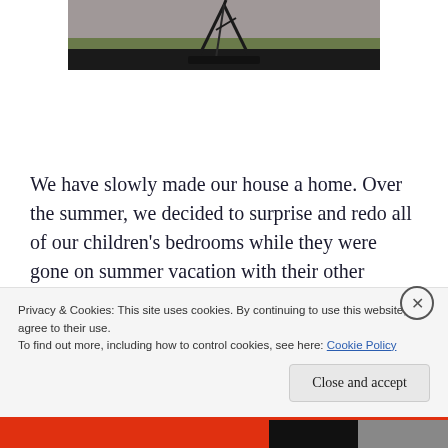[Figure (photo): Top portion of a photo showing a tripod or camera stand structure against a grey sky, with green grass visible at the bottom edge]
We have slowly made our house a home. Over the summer, we decided to surprise and redo all of our children's bedrooms while they were gone on summer vacation with their other parent! Keep in mind, I am not one of those brilliant decorating bloggers whose home looks like the completed project at the end of a
Privacy & Cookies: This site uses cookies. By continuing to use this website, you agree to their use.
To find out more, including how to control cookies, see here: Cookie Policy
Close and accept